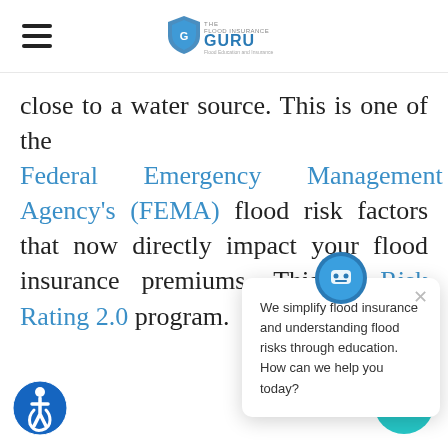The Flood Insurance Guru — Flood Education and Insurance
close to a water source. This is one of the Federal Emergency Management Agency's (FEMA) flood risk factors that now directly impact your flood insurance premiums. This is part of the Risk Rating 2.0 program.
[Figure (screenshot): Chat widget popup with avatar icon showing message: 'We simplify flood insurance and understanding flood risks through education. How can we help you today?']
[Figure (illustration): Accessibility icon — blue circle with wheelchair user symbol]
[Figure (illustration): Teal chat bubble button icon in bottom right corner]